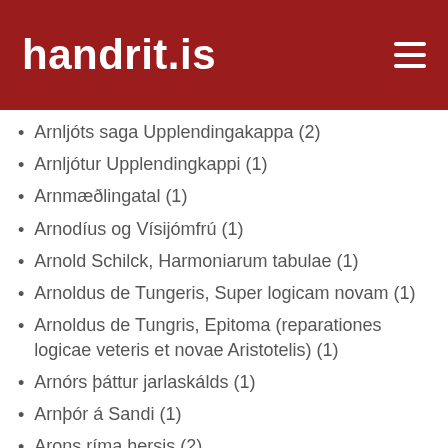handrit.is
Arnljóts saga Upplendingakappa (2)
Arnljótur Upplendingkappi (1)
Arnmæðlingatal (1)
Arnodíus og Vísijómfrú (1)
Arnold Schilck, Harmoniarum tabulae (1)
Arnoldus de Tungeris, Super logicam novam (1)
Arnoldus de Tungris, Epitoma (reparationes logicae veteris et novae Aristotelis) (1)
Arnórs þáttur jarlaskálds (1)
Arnþór á Sandi (1)
Arons ríma hersis (2)
Arons saga Hjörleifssonar (19)
Arons saga Hjörleifssonar og brot úr Þórðar sögu hreðu (1)